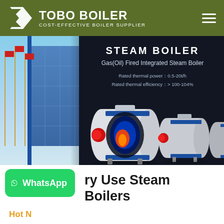TOBO BOILER — COST-EFFECTIVE BOILER SUPPLIER
[Figure (screenshot): Hero banner showing steam boiler product page with building image on left and industrial boiler units on dark background on right. Text overlay: STEAM BOILER, Gas(Oil) Fired Integrated Steam Boiler, Rated thermal power: 0.5-20t/h, Rated thermal efficiency: > 100-104%]
Food Industry Use Steam Boilers
[Figure (logo): WhatsApp button — green rounded rectangle with WhatsApp icon and text 'WhatsApp']
Hot N...